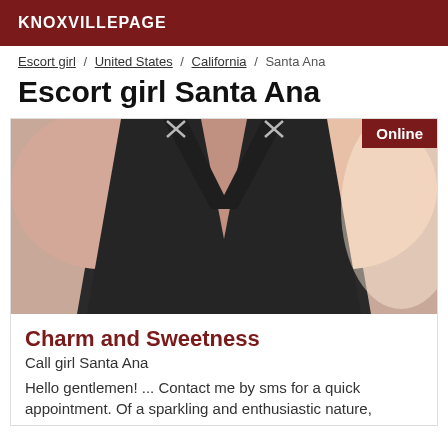KNOXVILLEPAGE
Escort girl / United States / California / Santa Ana
Escort girl Santa Ana
[Figure (photo): Photo of a woman in a black top, with an 'Online' badge in the top right corner.]
Charm and Sweetness
Call girl Santa Ana
Hello gentlemen! ... Contact me by sms for a quick appointment. Of a sparkling and enthusiastic nature,